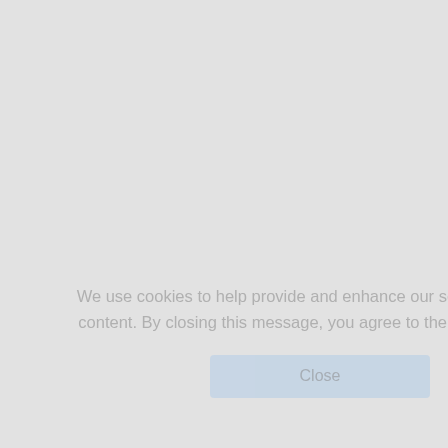We use cookies to help provide and enhance our service and tailor content. By closing this message, you agree to the use of cookies.
| Time | Session |
| --- | --- |
| 9:16 AM | Keyn... | Sima... | Move... | 9:16 A... |
| 9:26 AM | Keyn... | Irfan S... | Move... | 9:26 A... |
| 9:35 AM | Keyn... | Aamir... | Move... | 9:35 A... | Vis... |
| 10:00 AM | Plati... | Atif B... | Move... | 10:00... |
| 10:15 AM | Plati... |